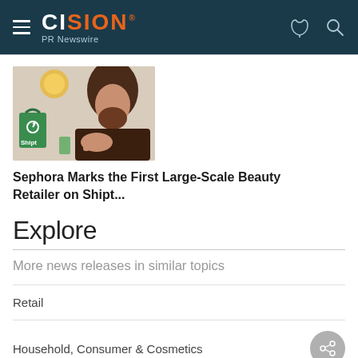CISION PR Newswire
[Figure (photo): Photo of a person with long hair resting their chin on their hand, smiling, with a green Shipt shopping bag in the background]
Sephora Marks the First Large-Scale Beauty Retailer on Shipt...
Explore
More news releases in similar topics
Retail
Household, Consumer & Cosmetics